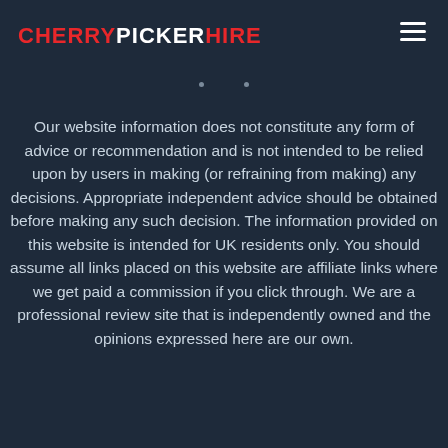CHERRYPICKERHIRE
Our website information does not constitute any form of advice or recommendation and is not intended to be relied upon by users in making (or refraining from making) any decisions. Appropriate independent advice should be obtained before making any such decision. The information provided on this website is intended for UK residents only. You should assume all links placed on this website are affiliate links where we get paid a commission if you click through. We are a professional review site that is independently owned and the opinions expressed here are our own.